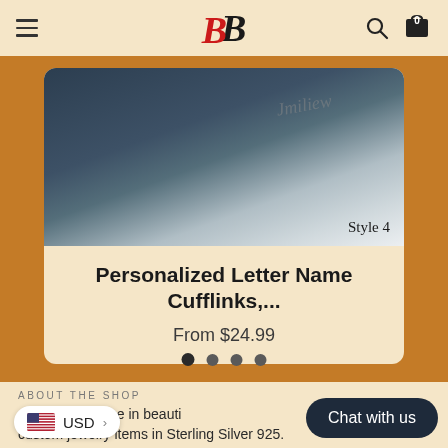BB logo with hamburger menu, search and cart icons
[Figure (photo): Product image of person wearing cufflinks, dark suit jacket visible with white shirt cuff, cursive script visible on silver cufflink. Text 'Style 4' shown at bottom right of image.]
Personalized Letter Name Cufflinks,...
From $24.99
ABOUT THE SHOP
..n, we specialise in beauti... custom jewelry items in Sterling Silver 925.